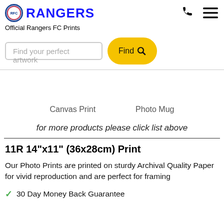RANGERS
Official Rangers FC Prints
Find your perfect artwork
Canvas Print   Photo Mug
for more products please click list above
11R 14"x11" (36x28cm) Print
Our Photo Prints are printed on sturdy Archival Quality Paper for vivid reproduction and are perfect for framing
30 Day Money Back Guarantee